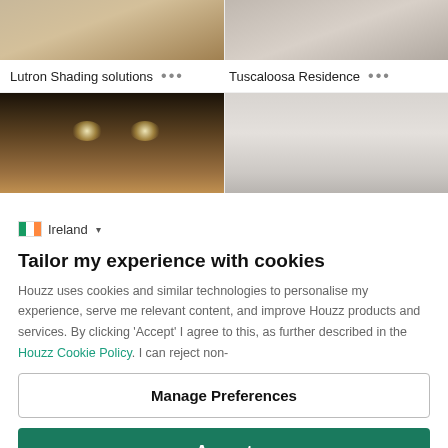[Figure (photo): Two interior design photos at top — left shows wooden flooring, right shows a room interior]
Lutron Shading solutions  ...
Tuscaloosa Residence  ...
[Figure (photo): Two more interior photos — left shows a hallway with recessed ceiling lights, right shows a light-colored room]
Ireland ▾
Tailor my experience with cookies
Houzz uses cookies and similar technologies to personalise my experience, serve me relevant content, and improve Houzz products and services. By clicking 'Accept' I agree to this, as further described in the Houzz Cookie Policy. I can reject non-
Manage Preferences
Accept